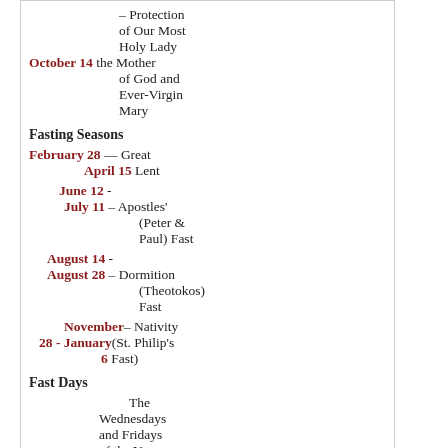– Protection of Our Most Holy Lady the Mother of God and Ever-Virgin Mary
Fasting Seasons
February 28 — Great April 15 Lent
June 12 - July 11 – Apostles' (Peter & Paul) Fast
August 14 - August 28 – Dormition (Theotokos) Fast
November 28 - January 6 – Nativity (St. Philip's Fast)
Fast Days
The Wednesdays and Fridays of the Year, except for Fast-Free Weeks
– Kroschonsky